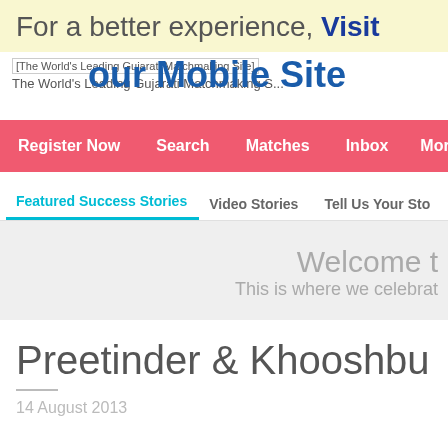For a better experience, Visit our Mobile Site
[Figure (screenshot): Website screenshot showing logo 'The World's Leading Gujarati Matchmaking Site' with navigation bar, tabs, and success story section for Preetinder & Khooshbu]
Register Now   Search   Matches   Inbox   More
Featured Success Stories   Video Stories   Tell Us Your Sto...
Welcome t... This is where we celebrat...
Preetinder & Khooshbu
14 August 2013